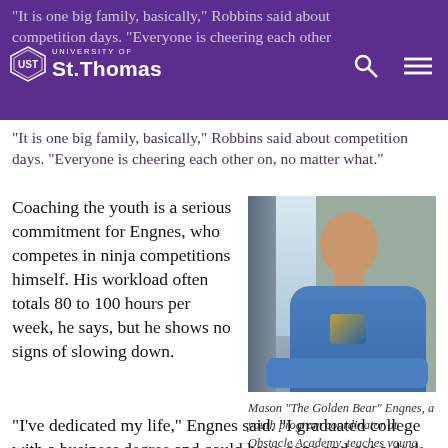University of St. Thomas — navigation header with logo, search, and menu icons
“It is one big family, basically,” Robbins said about competition days. “Everyone is cheering each other on, no matter what.”
Coaching the youth is a serious commitment for Engnes, who competes in ninja competitions himself. His workload often totals 80 to 100 hours per week, he says, but he shows no signs of slowing down.
[Figure (photo): Photo of Mason “The Golden Bear” Engnes, a young man in a blue t-shirt seated near a window indoors.]
Mason “The Golden Bear” Engnes, a youth program coordinator at Obstacle Academy, teaches young people how to become ninjas.
“I’ve dedicated my life,” Engnes said. “I graduated college with a business degree and could have gone and got a desk job that would’ve made more money, wouldn’t have been as fun. For me, it means